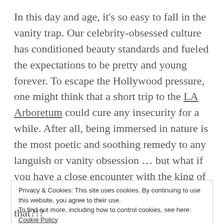In this day and age, it's so easy to fall in the vanity trap. Our celebrity-obsessed culture has conditioned beauty standards and fueled the expectations to be pretty and young forever. To escape the Hollywood pressure, one might think that a short trip to the LA Arboretum could cure any insecurity for a while. After all, being immersed in nature is the most poetic and soothing remedy to any languish or vanity obsession ... but what if you have a close encounter with the king of vanity, the Peacock himself? Then, there is really no escape!! What a character this bird is! He has the most
Privacy & Cookies: This site uses cookies. By continuing to use this website, you agree to their use.
To find out more, including how to control cookies, see here: Cookie Policy
Close and accept
that?!?